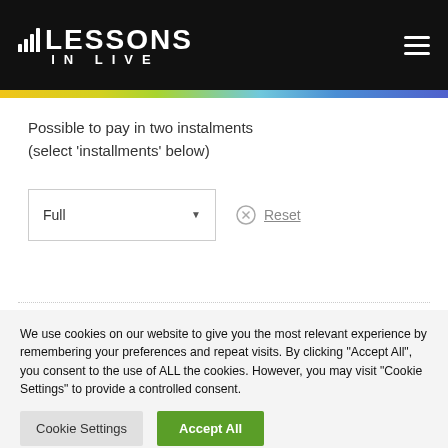LESSONS IN LIVE
Possible to pay in two instalments (select ‘installments’ below)
[Figure (screenshot): Dropdown selector showing 'Full' with a down arrow, and a Reset link with X icon]
We use cookies on our website to give you the most relevant experience by remembering your preferences and repeat visits. By clicking “Accept All”, you consent to the use of ALL the cookies. However, you may visit “Cookie Settings” to provide a controlled consent.
Cookie Settings | Accept All